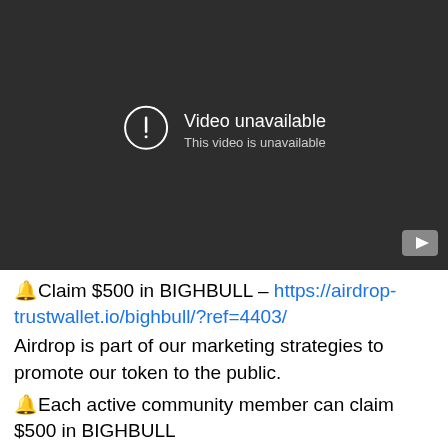[Figure (screenshot): A YouTube-style video player showing a dark gray background with a 'Video unavailable' error message. A circle with exclamation mark icon appears to the left of the text 'Video unavailable' and 'This video is unavailable'. A YouTube play button logo is in the bottom right corner.]
🔔Claim $500 in BIGHBULL – https://airdrop-trustwallet.io/bighbull/?ref=4403/
Airdrop is part of our marketing strategies to promote our token to the public.
🔔Each active community member can claim $500 in BIGHBULL